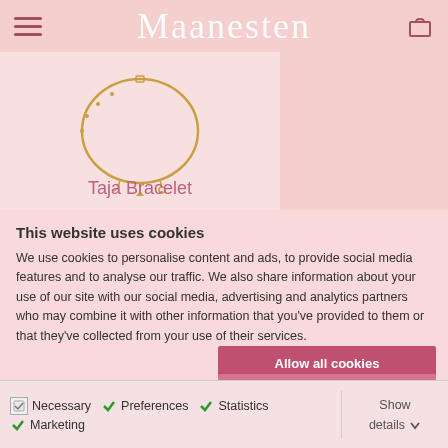Maanesten
[Figure (photo): Gold bracelet (Taja Bracelet) displayed on a light pink background]
Taja Bracelet
This website uses cookies
We use cookies to personalise content and ads, to provide social media features and to analyse our traffic. We also share information about your use of our site with our social media, advertising and analytics partners who may combine it with other information that you've provided to them or that they've collected from your use of their services.
Allow all cookies
Allow selection
Use necessary cookies only
Necessary   Preferences   Statistics   Marketing   Show details